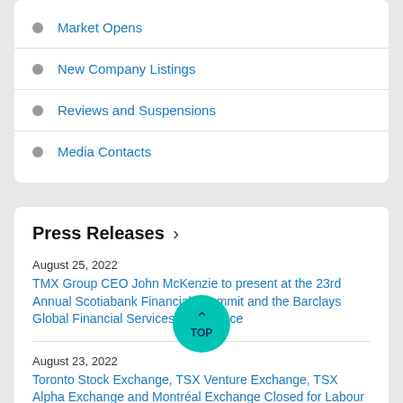Market Opens
New Company Listings
Reviews and Suspensions
Media Contacts
Press Releases >
August 25, 2022
TMX Group CEO John McKenzie to present at the 23rd Annual Scotiabank Financials Summit and the Barclays Global Financial Services Conference
August 23, 2022
Toronto Stock Exchange, TSX Venture Exchange, TSX Alpha Exchange and Montréal Exchange Closed for Labour Day